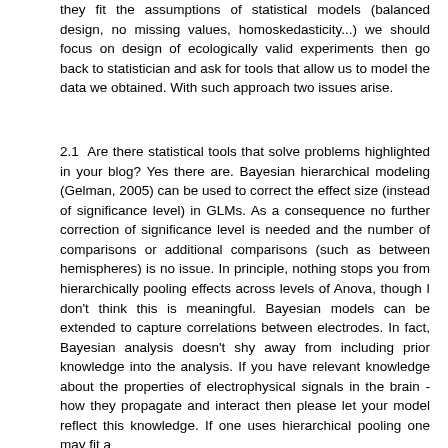they fit the assumptions of statistical models (balanced design, no missing values, homoskedasticity...) we should focus on design of ecologically valid experiments then go back to statistician and ask for tools that allow us to model the data we obtained. With such approach two issues arise.
2.1 Are there statistical tools that solve problems highlighted in your blog? Yes there are. Bayesian hierarchical modeling (Gelman, 2005) can be used to correct the effect size (instead of significance level) in GLMs. As a consequence no further correction of significance level is needed and the number of comparisons or additional comparisons (such as between hemispheres) is no issue. In principle, nothing stops you from hierarchically pooling effects across levels of Anova, though I don't think this is meaningful. Bayesian models can be extended to capture correlations between electrodes. In fact, Bayesian analysis doesn't shy away from including prior knowledge into the analysis. If you have relevant knowledge about the properties of electrophysical signals in the brain - how they propagate and interact then please let your model reflect this knowledge. If one uses hierarchical pooling one may fit a